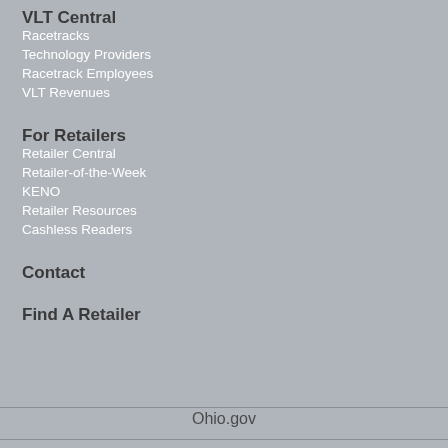VLT Central
Racetracks
Technology Providers
Racetrack Employees
VLT Revenues
For Retailers
Retailer Central
Retailer-of-the-Week
KENO
Retailer Resources
Cashless Readers
Contact
Find A Retailer
Ohio.gov